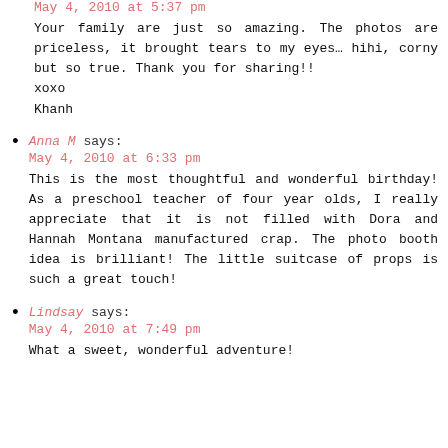May 4, 2010 at 5:37 pm
Your family are just so amazing. The photos are priceless, it brought tears to my eyes... hihi, corny but so true. Thank you for sharing!!
xoxo
Khanh
Anna M says:
May 4, 2010 at 6:33 pm
This is the most thoughtful and wonderful birthday! As a preschool teacher of four year olds, I really appreciate that it is not filled with Dora and Hannah Montana manufactured crap. The photo booth idea is brilliant! The little suitcase of props is such a great touch!
Lindsay says:
May 4, 2010 at 7:49 pm
What a sweet, wonderful adventure!